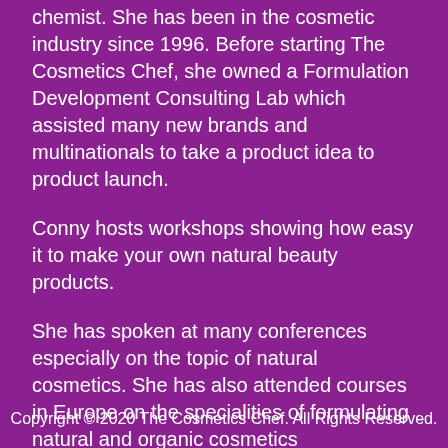chemist. She has been in the cosmetic industry since 1996. Before starting The Cosmetics Chef, she owned a Formulation Development Consulting Lab which assisted many new brands and multinationals to take a product idea to product launch.
Conny hosts workshops showing how easy it to make your own natural beauty products.
She has spoken at many conferences especially on the topic of natural cosmetics. She has also attended courses in Europe on the specialities of formulating natural and organic cosmetics
Copyright © 2020 The Cosmetics Chef. All Rights Reserved.